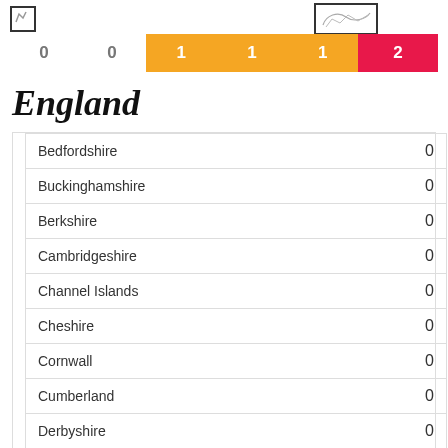[Figure (infographic): Top section with map icons and score bar showing values: 0, 0, 1, 1, 1, 2 with orange and red backgrounds]
England
| County/Region | Value |
| --- | --- |
| Bedfordshire | 0 |
| Buckinghamshire | 0 |
| Berkshire | 0 |
| Cambridgeshire | 0 |
| Channel Islands | 0 |
| Cheshire | 0 |
| Cornwall | 0 |
| Cumberland | 0 |
| Derbyshire | 0 |